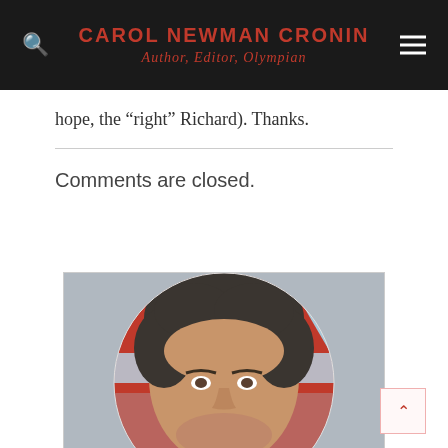CAROL NEWMAN CRONIN — Author, Editor, Olympian
hope, the “right” Richard). Thanks.
Comments are closed.
[Figure (photo): Circular portrait photo of a person with curly dark hair against a red and light blue background, cropped from shoulders up]